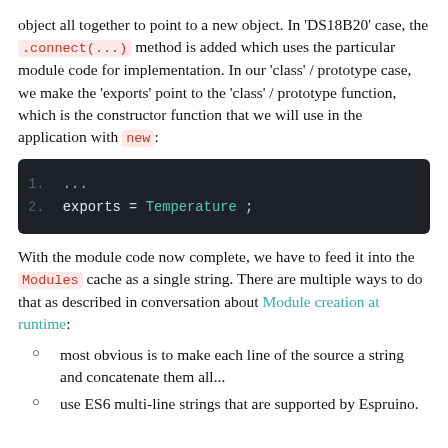object all together to point to a new object. In 'DS18B20' case, the .connect(...) method is added which uses the particular module code for implementation. In our 'class' / prototype case, we make the 'exports' point to the 'class' / prototype function, which is the constructor function that we will use in the application with new:
[Figure (screenshot): Code block with dark background showing: 1. ...  2. exports = Temperature;]
With the module code now complete, we have to feed it into the Modules cache as a single string. There are multiple ways to do that as described in conversation about Module creation at runtime:
most obvious is to make each line of the source a string and concatenate them all...
use ES6 multi-line strings that are supported by Espruino.